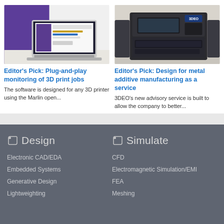[Figure (photo): Laptop with design/monitoring software on screen, purple background]
Editor's Pick: Plug-and-play monitoring of 3D print jobs
The software is designed for any 3D printer using the Marlin open...
[Figure (photo): 3DEO industrial metal 3D printer machine in a room]
Editor's Pick: Design for metal additive manufacturing as a service
3DEO's new advisory service is built to allow the company to better...
Design
Electronic CAD/EDA
Embedded Systems
Generative Design
Lightweighting
Simulate
CFD
Electromagnetic Simulation/EMI
FEA
Meshing